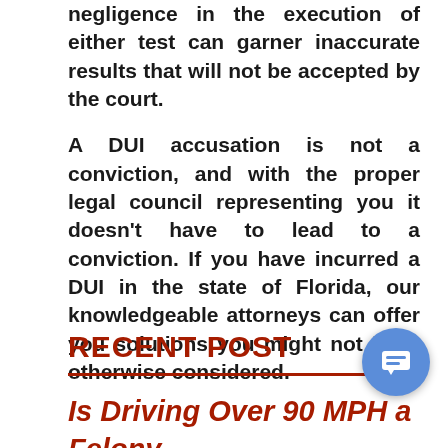negligence in the execution of either test can garner inaccurate results that will not be accepted by the court.

A DUI accusation is not a conviction, and with the proper legal council representing you it doesn't have to lead to a conviction. If you have incurred a DUI in the state of Florida, our knowledgeable attorneys can offer you solutions you might not have otherwise considered.
RECENT POST
Is Driving Over 90 MPH a Felony